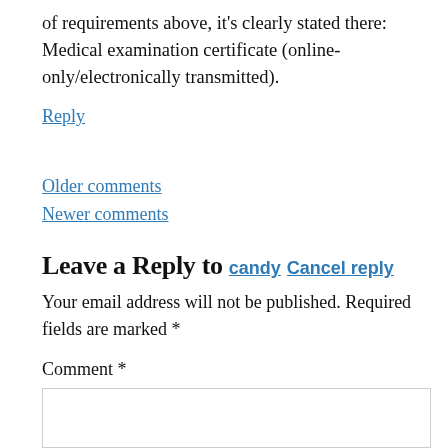of requirements above, it's clearly stated there: Medical examination certificate (online-only/electronically transmitted).
Reply
Older comments
Newer comments
Leave a Reply to candy Cancel reply
Your email address will not be published. Required fields are marked *
Comment *